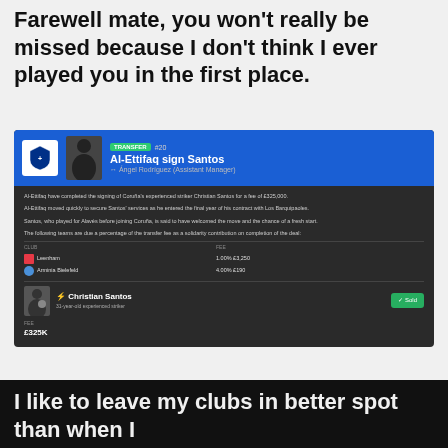Farewell mate, you won't really be missed because I don't think I ever played you in the first place.
[Figure (screenshot): Football Manager game screenshot showing a transfer news article: 'Al-Ettifaq sign Santos'. The dark-themed UI shows a news header with blue banner, player details for Christian Santos (31-year-old experienced striker), transfer fee of £325,000, solidarity contributions table showing Leenham 1.00% £3,250 and Arminia Bielefeld 4.00% £190, and a Sold button.]
I like to leave my clubs in better spot than when I